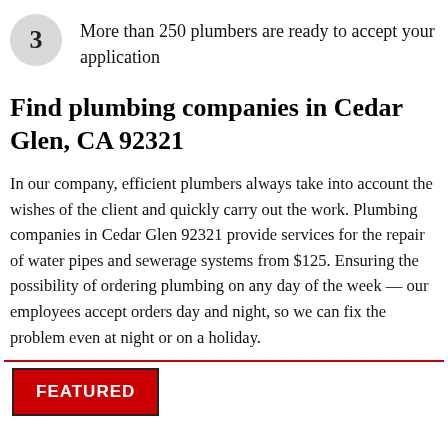3  More than 250 plumbers are ready to accept your application
Find plumbing companies in Cedar Glen, CA 92321
In our company, efficient plumbers always take into account the wishes of the client and quickly carry out the work. Plumbing companies in Cedar Glen 92321 provide services for the repair of water pipes and sewerage systems from $125. Ensuring the possibility of ordering plumbing on any day of the week — our employees accept orders day and night, so we can fix the problem even at night or on a holiday.
FEATURED